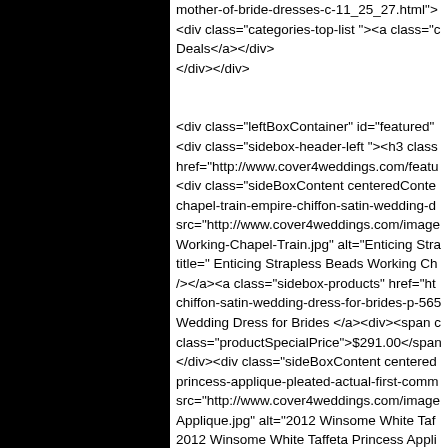mother-of-bride-dresses-c-11_25_27.html"> <div class="categories-top-list "><a class="c Deals</a></div> </div></div> <div class="leftBoxContainer" id="featured" <div class="sidebox-header-left "><h3 class href="http://www.cover4weddings.com/featu <div class="sideBoxContent centeredConte chapel-train-empire-chiffon-satin-wedding-d src="http://www.cover4weddings.com/image Working-Chapel-Train.jpg" alt="Enticing Stra title=" Enticing Strapless Beads Working Ch /></a><a class="sidebox-products" href="ht chiffon-satin-wedding-dress-for-brides-p-565 Wedding Dress for Brides </a><div><span c class="productSpecialPrice">$291.00</span </div><div class="sideBoxContent centered princess-applique-pleated-actual-first-comm src="http://www.cover4weddings.com/image Applique.jpg" alt="2012 Winsome White Taf 2012 Winsome White Taffeta Princess Appli /></a><a class="sidebox-products" href="ht actual-first-communion-dress-afcd012-p-912